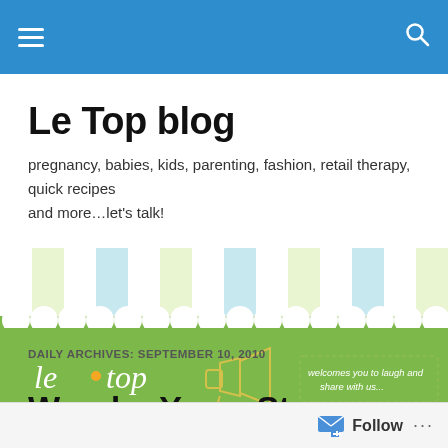Le Top blog navigation bar
Le Top blog
pregnancy, babies, kids, parenting, fashion, retail therapy, quick recipes and more…let's talk!
[Figure (illustration): Le Top blog banner with striped awning pattern in green and light blue, green background with 'le top' cursive logo, a megaphone graphic, and dotted border text: 'welcomes you to laugh and share with us...']
DAILY ARCHIVES: SEPTEMBER 10, 2010
Wonder Years Star Welcomes
Follow